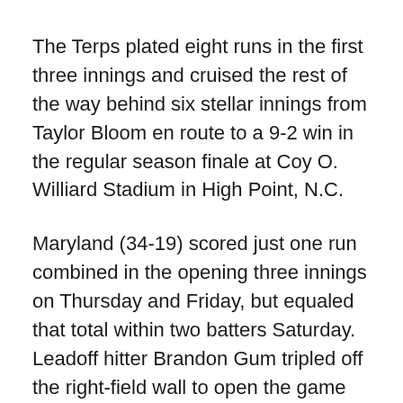The Terps plated eight runs in the first three innings and cruised the rest of the way behind six stellar innings from Taylor Bloom en route to a 9-2 win in the regular season finale at Coy O. Williard Stadium in High Point, N.C.
Maryland (34-19) scored just one run combined in the opening three innings on Thursday and Friday, but equaled that total within two batters Saturday. Leadoff hitter Brandon Gum tripled off the right-field wall to open the game and AJ Lee followed with an RBI groundout to give the Terps a lead they would not relinquish.
That single run is all Maryland got in the first, but in the second inning, the Terps offense broke the game open. With one out, Kevin Smith roped a double to the wall in left-center, his ninth two-bagger of the year. A pair of singles from Madison Nickons and Justin Morris followed